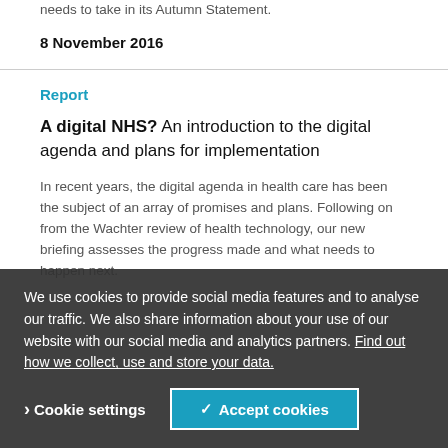needs to take in its Autumn Statement.
8 November 2016
Report
A digital NHS? An introduction to the digital agenda and plans for implementation
In recent years, the digital agenda in health care has been the subject of an array of promises and plans. Following on from the Wachter review of health technology, our new briefing assesses the progress made and what needs to happen next.
We use cookies to provide social media features and to analyse our traffic. We also share information about your use of our website with our social media and analytics partners. Find out how we collect, use and store your data.
> Cookie settings
✓ Accept cookies